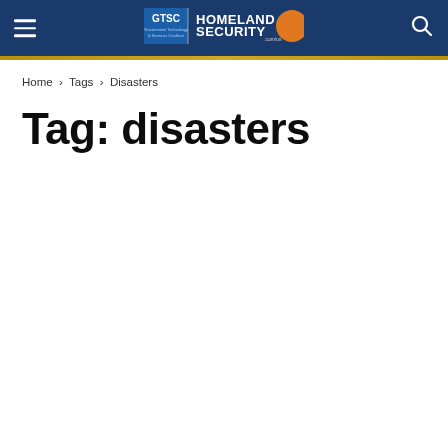GTSC Homeland Security Today - navigation header with hamburger menu, logo, and search icon
Home › Tags › Disasters
Tag: disasters